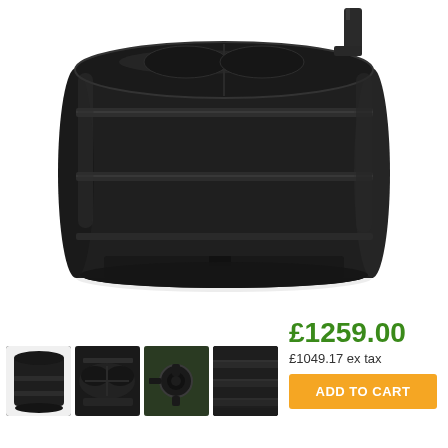[Figure (photo): Large black cylindrical water storage tank viewed from a slight angle above, showing ribbed sides, flat lid with inlets, and a base plinth. The tank is dark charcoal/black plastic.]
[Figure (photo): Four thumbnail images of the same black water tank from different angles: full side view, top/lid close-up, side outlet fitting close-up, and ribbed side surface close-up.]
£1259.00
£1049.17 ex tax
ADD TO CART